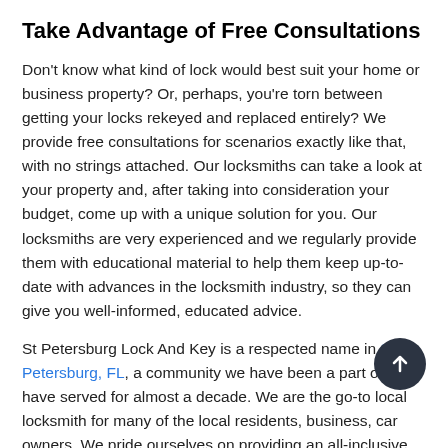Take Advantage of Free Consultations
Don't know what kind of lock would best suit your home or business property? Or, perhaps, you're torn between getting your locks rekeyed and replaced entirely? We provide free consultations for scenarios exactly like that, with no strings attached. Our locksmiths can take a look at your property and, after taking into consideration your budget, come up with a unique solution for you. Our locksmiths are very experienced and we regularly provide them with educational material to help them keep up-to-date with advances in the locksmith industry, so they can give you well-informed, educated advice.
St Petersburg Lock And Key is a respected name in St Petersburg, FL, a community we have been a part of and have served for almost a decade. We are the go-to local locksmith for many of the local residents, business, car owners. We pride ourselves on providing an all-inclusive, value-for-money service. We employ a team of